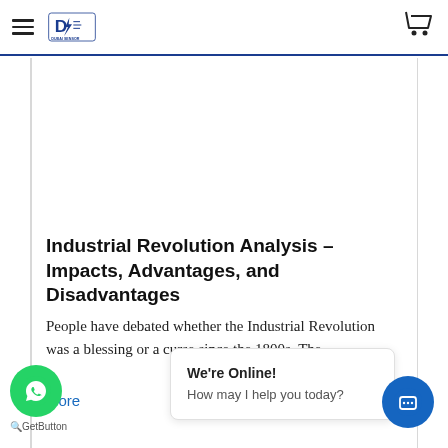Dubai Sensor — navigation bar with logo and cart icon
Industrial Revolution Analysis – Impacts, Advantages, and Disadvantages
People have debated whether the Industrial Revolution was a blessing or a curse since the 1800s. The ...
More
[Figure (screenshot): WhatsApp GetButton widget and online chat popup saying 'We're Online! How may I help you today?']